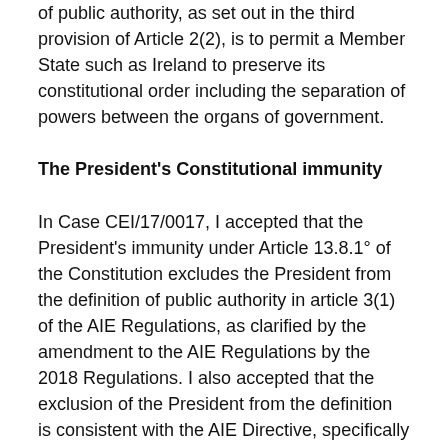of public authority, as set out in the third provision of Article 2(2), is to permit a Member State such as Ireland to preserve its constitutional order including the separation of powers between the organs of government.
The President's Constitutional immunity
In Case CEI/17/0017, I accepted that the President's immunity under Article 13.8.1° of the Constitution excludes the President from the definition of public authority in article 3(1) of the AIE Regulations, as clarified by the amendment to the AIE Regulations by the 2018 Regulations. I also accepted that the exclusion of the President from the definition is consistent with the AIE Directive, specifically the third provision of Article 2(2).
I observed that Article 13.8.1° of the Constitution precludes the President from review by any court